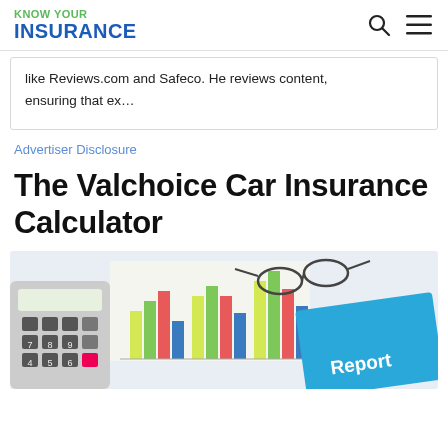KNOW YOUR INSURANCE
like Reviews.com and Safeco. He reviews content, ensuring that ex…
Advertiser Disclosure
The Valchoice Car Insurance Calculator
[Figure (photo): A calculator, bar chart with colorful bars, and a blue folder labeled 'Report', with eyeglasses resting on top — an insurance/financial reporting scene.]